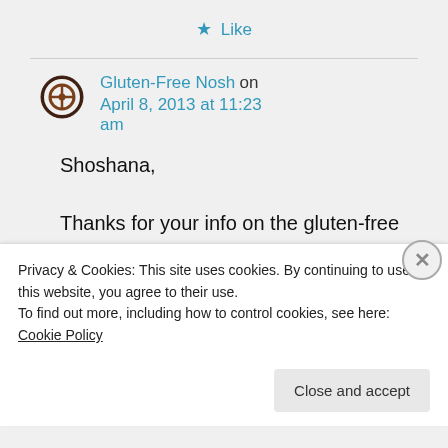★ Like
Gluten-Free Nosh on April 8, 2013 at 11:23 am
Shoshana,
Thanks for your info on the gluten-free matzah meal. So
Privacy & Cookies: This site uses cookies. By continuing to use this website, you agree to their use.
To find out more, including how to control cookies, see here: Cookie Policy
Close and accept